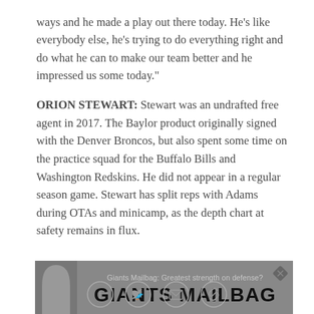ways and he made a play out there today. He's like everybody else, he's trying to do everything right and do what he can to make our team better and he impressed us some today."
ORION STEWART: Stewart was an undrafted free agent in 2017. The Baylor product originally signed with the Denver Broncos, but also spent some time on the practice squad for the Buffalo Bills and Washington Redskins. He did not appear in a regular season game. Stewart has split reps with Adams during OTAs and minicamp, as the depth chart at safety remains in flux.
[Figure (other): Giants Mailbag promotional banner with dark gray background, subtitle 'Giants Mailbag: Greatest strength on defense?' and large bold text 'GIANTS MAILBAG']
[Figure (other): Social sharing icons: Facebook, Twitter, Email, Link]